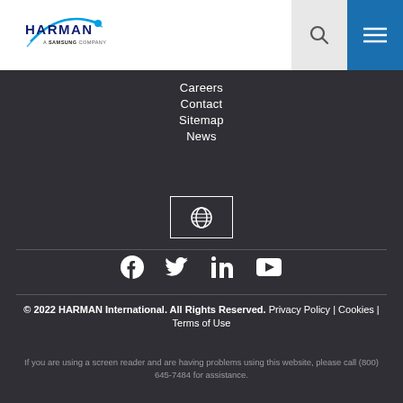[Figure (logo): HARMAN - A Samsung Company logo, blue text with arc swoosh graphic]
Careers
Contact
Sitemap
News
[Figure (other): Globe/language selector icon button with white border]
[Figure (other): Social media icons: Facebook, Twitter, LinkedIn, YouTube]
© 2022 HARMAN International. All Rights Reserved. Privacy Policy | Cookies | Terms of Use
If you are using a screen reader and are having problems using this website, please call (800) 645-7484 for assistance.